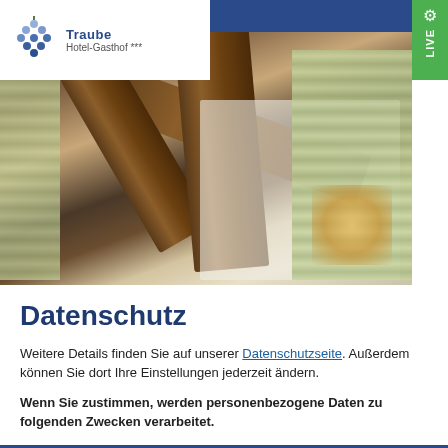[Figure (photo): Hotel room interior showing wooden beams, floral curtains, and white walls — hero banner image for a hotel website]
[Figure (logo): Hotel Gasthof logo with grape cluster icon and hotel name, three-star rating]
Datenschutz
Weitere Details finden Sie auf unserer Datenschutzseite. Außerdem können Sie dort Ihre Einstellungen jederzeit ändern.
Wenn Sie zustimmen, werden personenbezogene Daten zu folgenden Zwecken verarbeitet.
Google Maps